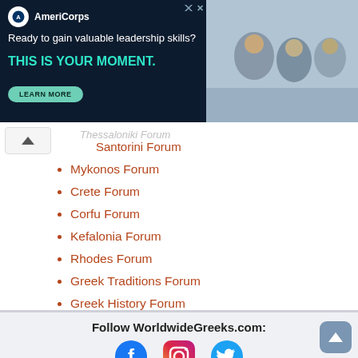[Figure (screenshot): AmeriCorps advertisement banner on dark navy background. Text: 'Ready to gain valuable leadership skills? THIS IS YOUR MOMENT.' with a LEARN MORE button and a photo of people on the right side.]
Santorini Forum
Mykonos Forum
Crete Forum
Corfu Forum
Kefalonia Forum
Rhodes Forum
Greek Traditions Forum
Greek History Forum
Greek Mythology Forum
Follow WorldwideGreeks.com:
[Figure (infographic): Social media icons: Facebook (blue circle with white f), Instagram (gradient square with circle), Twitter (blue bird)]